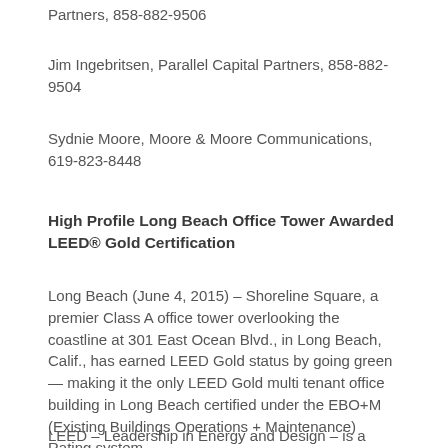Partners, 858-882-9506
Jim Ingebritsen, Parallel Capital Partners, 858-882-9504
Sydnie Moore, Moore & Moore Communications, 619-823-8448
High Profile Long Beach Office Tower Awarded LEED® Gold Certification
Long Beach (June 4, 2015) – Shoreline Square, a premier Class A office tower overlooking the coastline at 301 East Ocean Blvd., in Long Beach, Calif., has earned LEED Gold status by going green — making it the only LEED Gold multi tenant office building in Long Beach certified under the EBO+M (Existing Buildings Operations + Maintenance) Rating system.
LEED – Leadership in Energy and Design – is a nationally recognized benchmark for sustainable